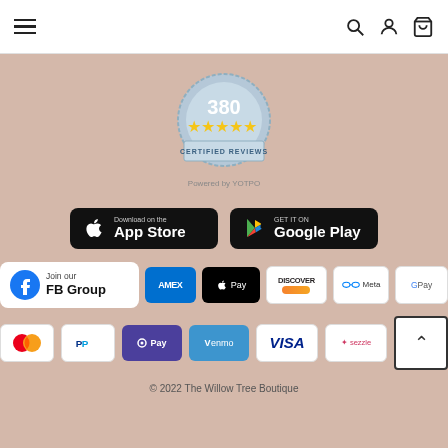Navigation header with hamburger menu, search, account, and cart icons
[Figure (illustration): Yotpo certified reviews badge showing 380 with 5 gold stars and text 'CERTIFIED REVIEWS', followed by 'Powered by YOTPO']
[Figure (illustration): App Store download button (black rounded rectangle with Apple logo)]
[Figure (illustration): Google Play download button (black rounded rectangle with Play logo)]
[Figure (illustration): Join our FB Group button with Facebook logo]
[Figure (illustration): Payment method icons: AMEX, Apple Pay, Discover, Meta, Google Pay, Mastercard, PayPal, OPay, Venmo, VISA, Sezzle]
© 2022 The Willow Tree Boutique